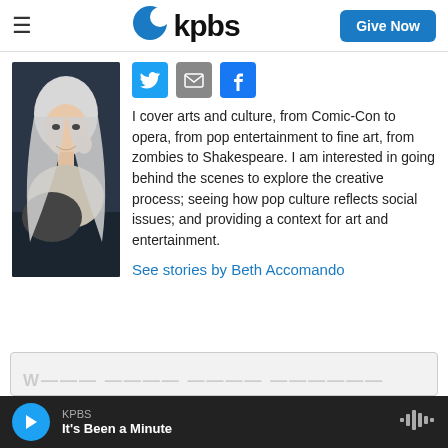KPBS | Give Now
[Figure (photo): Headshot of Beth Accomando, a woman with long white/platinum hair, sitting in a contemplative pose against a dark background]
[Figure (infographic): Social share icons: Twitter (blue bird), Email (grey envelope), Facebook (blue f)]
I cover arts and culture, from Comic-Con to opera, from pop entertainment to fine art, from zombies to Shakespeare. I am interested in going behind the scenes to explore the creative process; seeing how pop culture reflects social issues; and providing a context for art and entertainment.
See stories by Beth Accomando
KPBS | It's Been a Minute